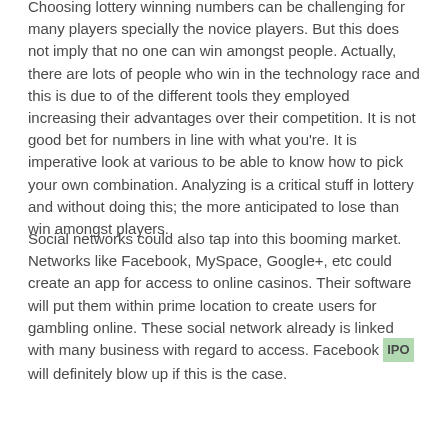Choosing lottery winning numbers can be challenging for many players specially the novice players. But this does not imply that no one can win amongst people. Actually, there are lots of people who win in the technology race and this is due to of the different tools they employed increasing their advantages over their competition. It is not good bet for numbers in line with what you're. It is imperative look at various to be able to know how to pick your own combination. Analyzing is a critical stuff in lottery and without doing this; the more anticipated to lose than win amongst players.
Social networks could also tap into this booming market. Networks like Facebook, MySpace, Google+, etc could create an app for access to online casinos. Their software will put them within prime location to create users for gambling online. These social network already is linked with many business with regard to access. Facebook IPO will definitely blow up if this is the case.